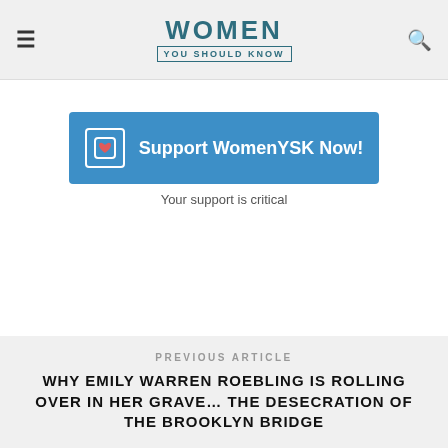WOMEN YOU SHOULD KNOW
[Figure (infographic): Blue button with heart icon reading 'Support WomenYSK Now!' with caption 'Your support is critical']
Your support is critical
PREVIOUS ARTICLE
WHY EMILY WARREN ROEBLING IS ROLLING OVER IN HER GRAVE… THE DESECRATION OF THE BROOKLYN BRIDGE